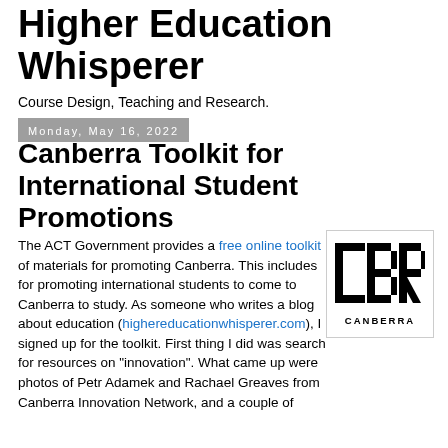Higher Education Whisperer
Course Design, Teaching and Research.
Monday, May 16, 2022
Canberra Toolkit for International Student Promotions
The ACT Government provides a free online toolkit of materials for promoting Canberra. This includes for promoting international students to come to Canberra to study. As someone who writes a blog about education (highereducationwhisperer.com), I signed up for the toolkit. First thing I did was search for resources on "innovation". What came up were photos of Petr Adamek and Rachael Greaves from Canberra Innovation Network, and a couple of
[Figure (logo): Canberra logo: stylized geometric letters CBR in black with the word CANBERRA below in bold, inside a bordered box]